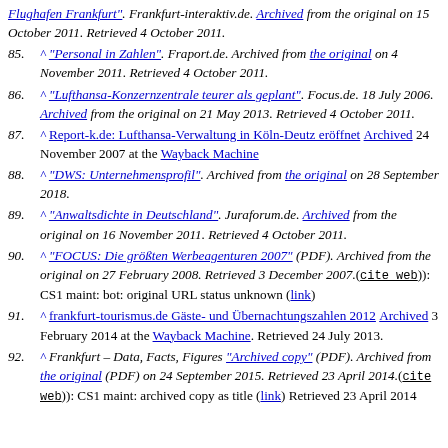^ "Personal in Zahlen". Fraport.de. Archived from the original on 4 November 2011. Retrieved 4 October 2011.
^ "Lufthansa-Konzernzentrale teurer als geplant". Focus.de. 18 July 2006. Archived from the original on 21 May 2013. Retrieved 4 October 2011.
^ Report-k.de: Lufthansa-Verwaltung in Köln-Deutz eröffnet Archived 24 November 2007 at the Wayback Machine
^ "DWS: Unternehmensprofil". Archived from the original on 28 September 2018.
^ "Anwaltsdichte in Deutschland". Juraforum.de. Archived from the original on 16 November 2011. Retrieved 4 October 2011.
^ "FOCUS: Die größten Werbeagenturen 2007" (PDF). Archived from the original on 27 February 2008. Retrieved 3 December 2007.((cite web)): CS1 maint: bot: original URL status unknown (link)
^ frankfurt-tourismus.de Gäste- und Übernachtungszahlen 2012 Archived 3 February 2014 at the Wayback Machine. Retrieved 24 July 2013.
^ Frankfurt – Data, Facts, Figures "Archived copy" (PDF). Archived from the original (PDF) on 24 September 2015. Retrieved 23 April 2014.((cite web)): CS1 maint: archived copy as title (link) Retrieved 23 April 2014